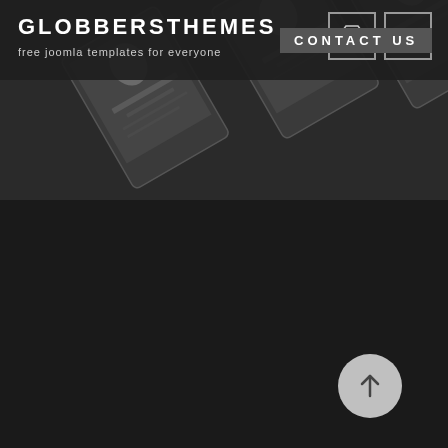[Figure (screenshot): Dark-themed website screenshot showing a header with navigation and a hero section with angled device/tablet mockups on a dark background]
GLOBBERSTHEMES
free joomla templates for everyone
CONTACT US
[Figure (other): Scroll-to-top button: circular light gray button with upward arrow icon]